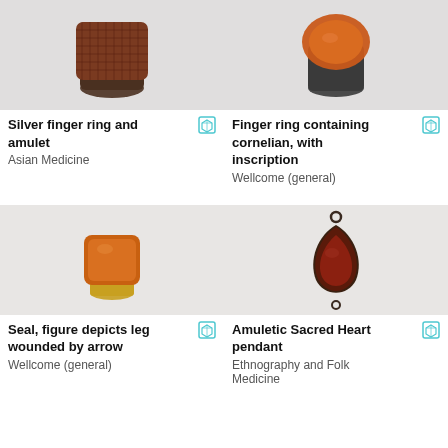[Figure (photo): Silver finger ring and amulet – brown square-faced signet ring with textured top on dark metal band]
Silver finger ring and amulet
Asian Medicine
[Figure (photo): Finger ring containing cornelian, with inscription – orange oval stone on dark metal band]
Finger ring containing cornelian, with inscription
Wellcome (general)
[Figure (photo): Seal with figure depicting leg wounded by arrow – orange square stone on gold band ring]
Seal, figure depicts leg wounded by arrow
Wellcome (general)
[Figure (photo): Amuletic Sacred Heart pendant – dark red teardrop-shaped stone in ornate dark metal setting with loop connectors]
Amuletic Sacred Heart pendant
Ethnography and Folk Medicine